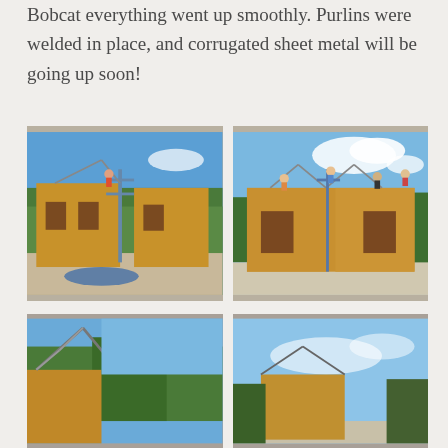Bobcat everything went up smoothly. Purlins were welded in place, and corrugated sheet metal will be going up soon!
[Figure (photo): Construction photo showing wooden building under construction with scaffolding and workers on top, surrounded by trees]
[Figure (photo): Construction photo showing workers standing on top of wooden building structure with roof trusses, blue sky with clouds]
[Figure (photo): Close-up construction photo showing roof truss detail and wooden wall panels with trees in background]
[Figure (photo): Construction photo showing building exterior with blue sky]